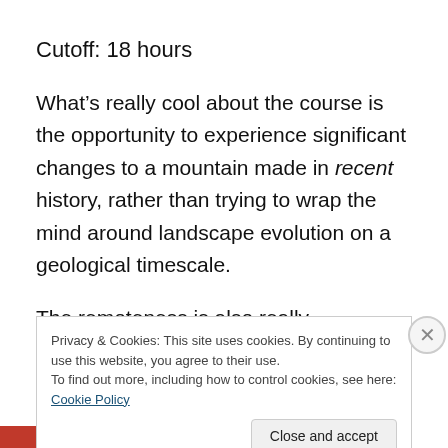Cutoff: 18 hours
What’s really cool about the course is the opportunity to experience significant changes to a mountain made in recent history, rather than trying to wrap the mind around landscape evolution on a geological timescale.
The remoteness is also really appealing–with only two aid stations it felt like way to connect with the mountain in sort of slow, visceral, and meditative way.
Privacy & Cookies: This site uses cookies. By continuing to use this website, you agree to their use.
To find out more, including how to control cookies, see here: Cookie Policy
Close and accept